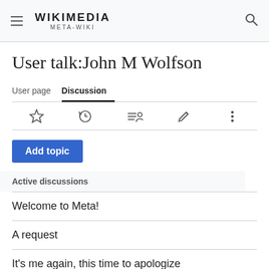WIKIMEDIA META-WIKI
User talk:John M Wolfson
User page | Discussion
Active discussions
Welcome to Meta!
A request
It's me again, this time to apologize